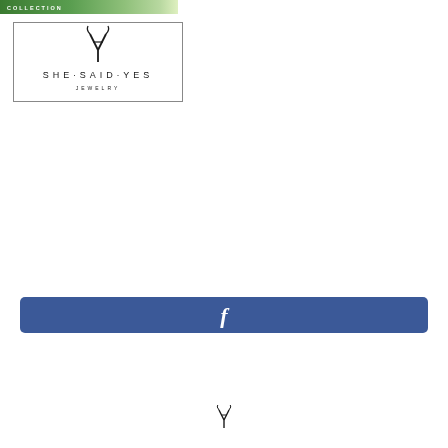[Figure (photo): Green floral/garden banner image with text 'COLLECTION' overlaid in white]
[Figure (logo): She Said Yes Jewelry logo in a bordered rectangle with stylized Y symbol above the text S H E · S A I D · Y E S and JEWELRY below]
[Figure (other): Facebook button - blue rounded rectangle with white 'f' letter]
[Figure (logo): Small She Said Yes logo symbol at bottom of page]